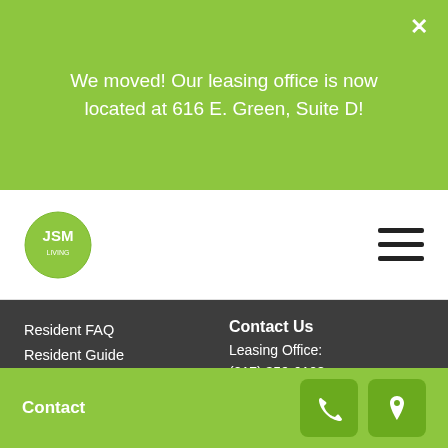We moved! Our leasing office is now located at 616 E. Green, Suite D!
[Figure (logo): JSM Living circular logo in green]
Resident FAQ
Resident Guide
Rate Sheet
Sample Lease
Privacy Statement
Disclaimer
Fair Housing Information
Contact Us
Leasing Office:
(217) 359-6108
Maintenance:
(217) 359-2695
jsm@jsmliving.com
Contact